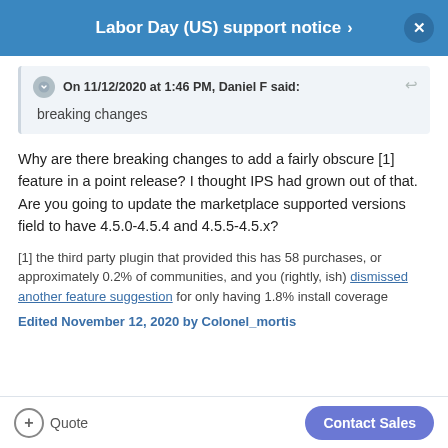Labor Day (US) support notice
On 11/12/2020 at 1:46 PM, Daniel F said:
breaking changes
Why are there breaking changes to add a fairly obscure [1] feature in a point release? I thought IPS had grown out of that. Are you going to update the marketplace supported versions field to have 4.5.0-4.5.4 and 4.5.5-4.5.x?
[1] the third party plugin that provided this has 58 purchases, or approximately 0.2% of communities, and you (rightly, ish) dismissed another feature suggestion for only having 1.8% install coverage
Edited November 12, 2020 by Colonel_mortis
Quote
Contact Sales